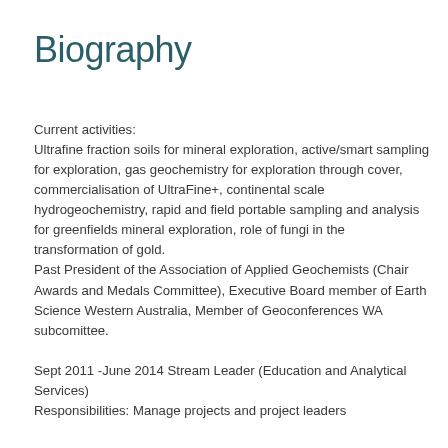Biography
Current activities:
Ultrafine fraction soils for mineral exploration, active/smart sampling for exploration, gas geochemistry for exploration through cover, commercialisation of UltraFine+, continental scale hydrogeochemistry, rapid and field portable sampling and analysis for greenfields mineral exploration, role of fungi in the transformation of gold.
Past President of the Association of Applied Geochemists (Chair Awards and Medals Committee), Executive Board member of Earth Science Western Australia, Member of Geoconferences WA subcomittee.
Sept 2011 -June 2014 Stream Leader (Education and Analytical Services)
Responsibilities: Manage projects and project leaders